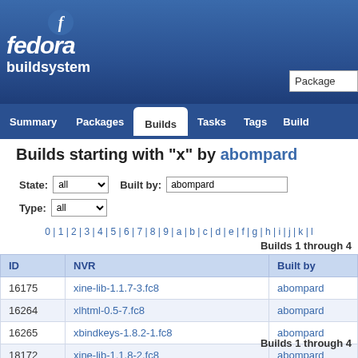fedora buildsystem
Builds starting with "x" by abompard
State: all  Built by: abompard  Type: all
0 | 1 | 2 | 3 | 4 | 5 | 6 | 7 | 8 | 9 | a | b | c | d | e | f | g | h | i | j | k | l
Builds 1 through 4
| ID | NVR | Built by |
| --- | --- | --- |
| 16175 | xine-lib-1.1.7-3.fc8 | abompard |
| 16264 | xlhtml-0.5-7.fc8 | abompard |
| 16265 | xbindkeys-1.8.2-1.fc8 | abompard |
| 18172 | xine-lib-1.1.8-2.fc8 | abompard |
Builds 1 through 4